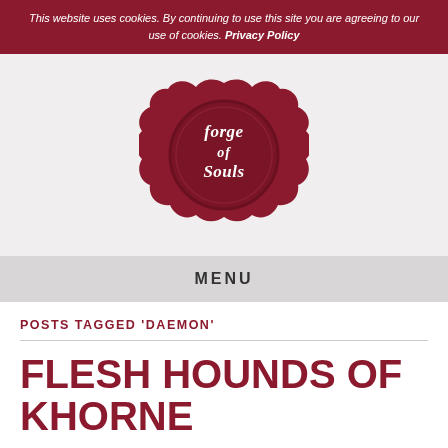This website uses cookies. By continuing to use this site you are agreeing to our use of cookies. Privacy Policy
[Figure (logo): Forge of Souls wax seal logo — a dark red wax seal with decorative scalloped edges and white gothic text reading 'Forge of Souls']
MENU
POSTS TAGGED ‘DAEMON’
FLESH HOUNDS OF KHORNE